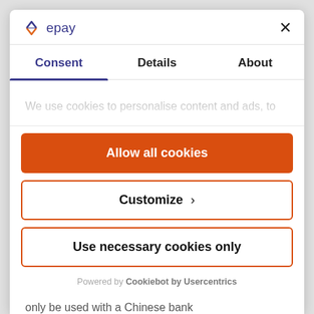[Figure (logo): epay logo with diamond icon in blue and orange]
Consent
Details
About
We use cookies to personalise content and ads, to
Allow all cookies
Customize >
Use necessary cookies only
Powered by Cookiebot by Usercentrics
only be used with a Chinese bank